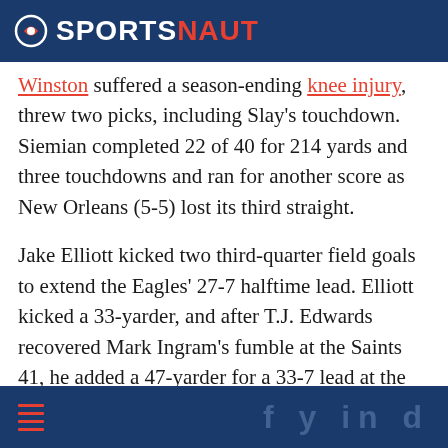SPORTSNAUT
Winston suffered a season-ending knee injury, threw two picks, including Slay's touchdown. Siemian completed 22 of 40 for 214 yards and three touchdowns and ran for another score as New Orleans (5-5) lost its third straight.
Jake Elliott kicked two third-quarter field goals to extend the Eagles' 27-7 halftime lead. Elliott kicked a 33-yarder, and after T.J. Edwards recovered Mark Ingram's fumble at the Saints 41, he added a 47-yarder for a 33-7 lead at the end of the third quarter.
NFL games   Also Read: